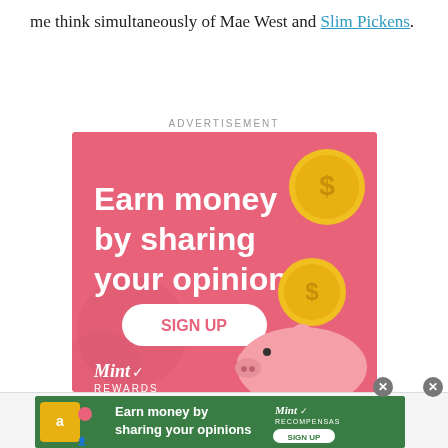me think simultaneously of Mae West and Slim Pickens.
ADVERTISEMENT
[Figure (illustration): Pink advertisement banner for Mint Rewards showing text 'Earn money by sharing your opinions' with a SIGN UP button, gold coins, and a piggy bank illustration.]
[Figure (illustration): Green bottom advertisement banner for Mint Recompensas showing 'Earn money by sharing your opinions' with a SIGN UP button and close buttons.]